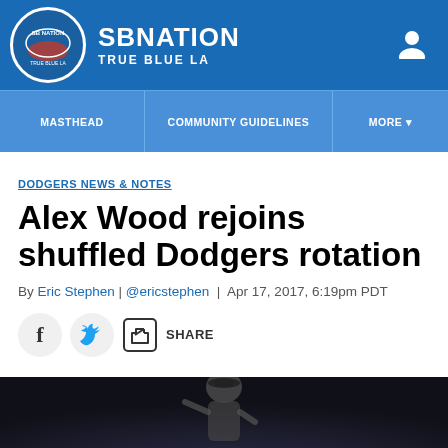SB NATION / TRUE BLUE LA
MASTHEAD | COMMUNITY GUIDELINES | MORE
DODGERS NEWS & NOTES
Alex Wood rejoins shuffled Dodgers rotation
By Eric Stephen | @ericstephen | Apr 17, 2017, 6:19pm PDT
SHARE
[Figure (photo): Baseball player pitching, dark stadium background]